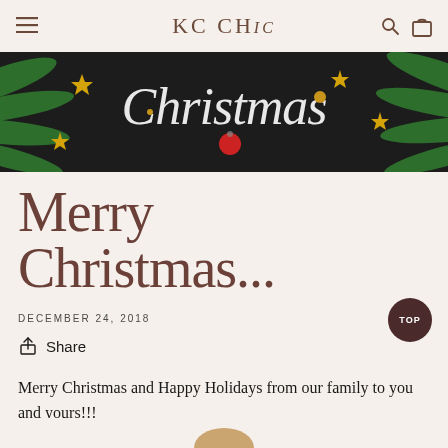KC CHIC
[Figure (photo): Christmas themed banner with dark background, pine tree branches, gold stars, red ornament ball, and cursive white text reading 'Christmas']
Merry Christmas...
DECEMBER 24, 2018
Share
Merry Christmas and Happy Holidays from our family to you and yours!!!
[Figure (photo): Partial bottom peek of an image, appears to be a Christmas or holiday related image]